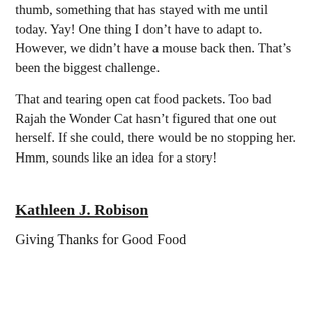thumb, something that has stayed with me until today. Yay! One thing I don't have to adapt to. However, we didn't have a mouse back then. That's been the biggest challenge.
That and tearing open cat food packets. Too bad Rajah the Wonder Cat hasn't figured that one out herself. If she could, there would be no stopping her. Hmm, sounds like an idea for a story!
Kathleen J. Robison
Giving Thanks for Good Food